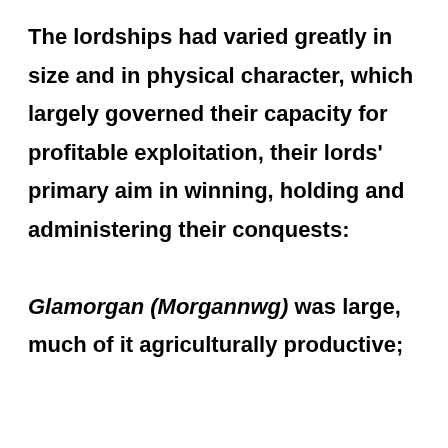The lordships had varied greatly in size and in physical character, which largely governed their capacity for profitable exploitation, their lords' primary aim in winning, holding and administering their conquests: Glamorgan (Morgannwg) was large, much of it agriculturally productive;